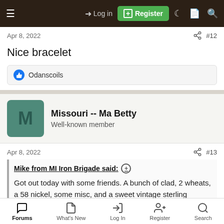Log in | Register
Apr 8, 2022   #12
Nice bracelet
Odanscoils
Missouri -- Ma Betty
Well-known member
Apr 8, 2022   #13
Mike from MI Iron Brigade said: ⊕
Got out today with some friends. A bunch of clad, 2 wheats, a 58 nickel, some misc, and a sweet vintage sterling bracelet with mother of
Forums | What's New | Log In | Register | Search